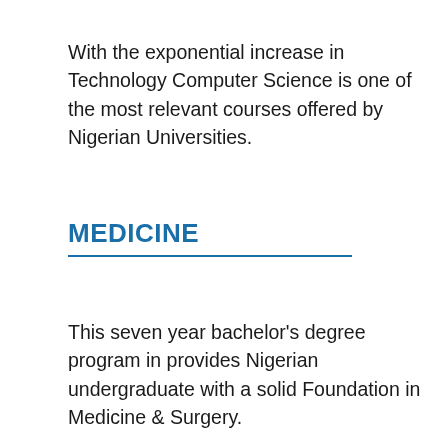With the exponential increase in Technology Computer Science is one of the most relevant courses offered by Nigerian Universities.
MEDICINE
This seven year bachelor's degree program in provides Nigerian undergraduate with a solid Foundation in Medicine & Surgery.